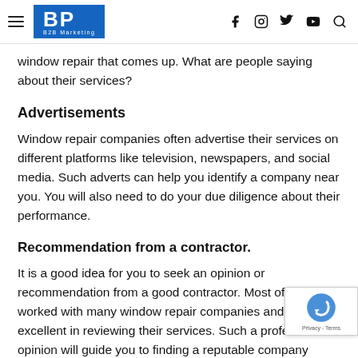BP B2B Marketing — navigation header with social icons
window repair that comes up. What are people saying about their services?
Advertisements
Window repair companies often advertise their services on different platforms like television, newspapers, and social media. Such adverts can help you identify a company near you. You will also need to do your due diligence about their performance.
Recommendation from a contractor.
It is a good idea for you to seek an opinion or recommendation from a good contractor. Most of the worked with many window repair companies and are excellent in reviewing their services. Such a professio opinion will guide you to finding a reputable company